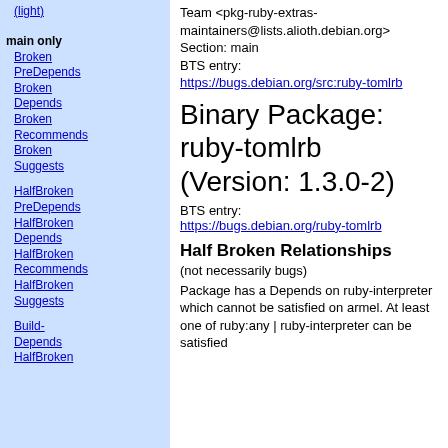Team <pkg-ruby-extras-maintainers@lists.alioth.debian.org>
Section: main
BTS entry:
https://bugs.debian.org/src:ruby-tomlrb
Binary Package: ruby-tomlrb (Version: 1.3.0-2)
BTS entry:
https://bugs.debian.org/ruby-tomlrb
Half Broken Relationships
(not necessarily bugs)
Package has a Depends on ruby-interpreter which cannot be satisfied on armel. At least one of ruby:any | ruby-interpreter can be satisfied
main only
Broken PreDepends
Broken Depends
Broken Recommends
Broken Suggests
HalfBroken PreDepends
HalfBroken Depends
HalfBroken Recommends
HalfBroken Suggests
Build-Depends
HalfBroken